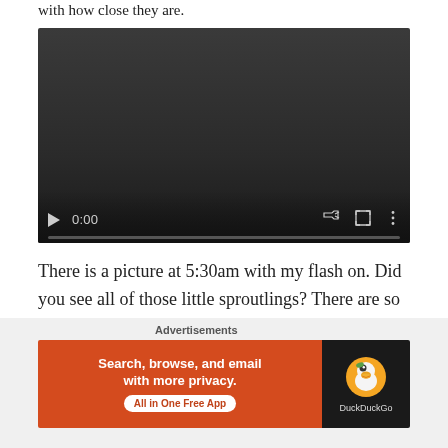with how close they are.
[Figure (screenshot): Embedded video player showing 0:00 timestamp with play button, volume, fullscreen, and menu controls at bottom, dark background]
There is a picture at 5:30am with my flash on. Did you see all of those little sproutlings? There are so many. It is exciting to see that so many survived my poor
Advertisements
[Figure (screenshot): DuckDuckGo advertisement banner: orange left side with text 'Search, browse, and email with more privacy. All in One Free App' and dark right side with DuckDuckGo duck logo]